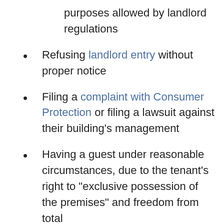purposes allowed by landlord regulations
Refusing landlord entry without proper notice
Filing a complaint with Consumer Protection or filing a lawsuit against their building's management
Having a guest under reasonable circumstances, due to the tenant's right to "exclusive possession of the premises" and freedom from total